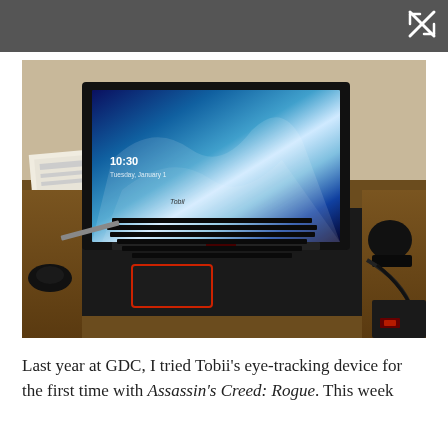[Figure (photo): A gaming laptop (with Tobii eye-tracking bar visible below the display) open on a wooden desk showing a blue ocean/wave wallpaper at 10:30, with papers, cables, headset, and peripheral devices around it.]
Last year at GDC, I tried Tobii's eye-tracking device for the first time with Assassin's Creed: Rogue. This week